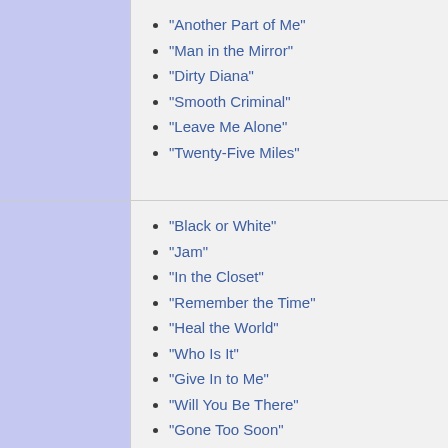"Another Part of Me"
"Man in the Mirror"
"Dirty Diana"
"Smooth Criminal"
"Leave Me Alone"
"Twenty-Five Miles"
"Black or White"
"Jam"
"In the Closet"
"Remember the Time"
"Heal the World"
"Who Is It"
"Give In to Me"
"Will You Be There"
"Gone Too Soon"
"Dangerous"
"Come Together"
"Scream"